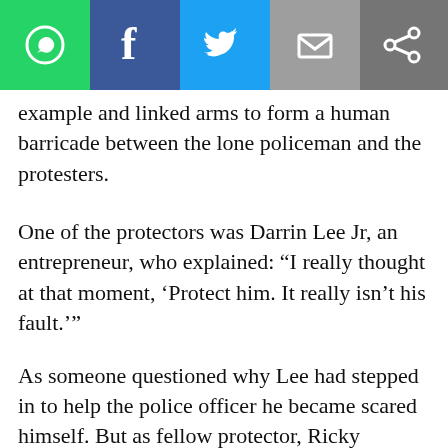Social share bar with WhatsApp, Facebook, Twitter, Email, and Share icons
example and linked arms to form a human barricade between the lone policeman and the protesters.
One of the protectors was Darrin Lee Jr, an entrepreneur, who explained: “I really thought at that moment, ‘Protect him. It really isn’t his fault.’”
As someone questioned why Lee had stepped in to help the police officer he became scared himself. But as fellow protector, Ricky McClellan shared: “A human was in trouble, and right is right.”
In what was a period of just two minutes, Hinshaw found himself protected by a group of men who risked